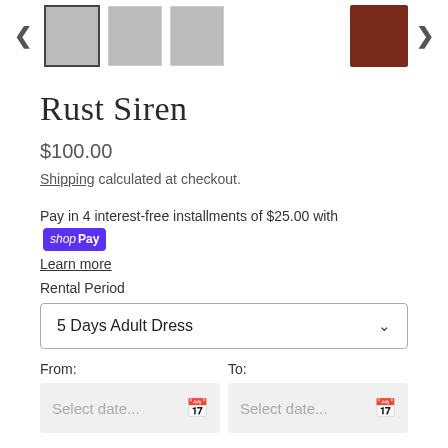[Figure (screenshot): Product thumbnail images and navigation arrows at the top]
Rust Siren
$100.00
Shipping calculated at checkout.
Pay in 4 interest-free installments of $25.00 with Shop Pay
Learn more
Rental Period
5 Days Adult Dress
From:
To:
Select date...
Select date...